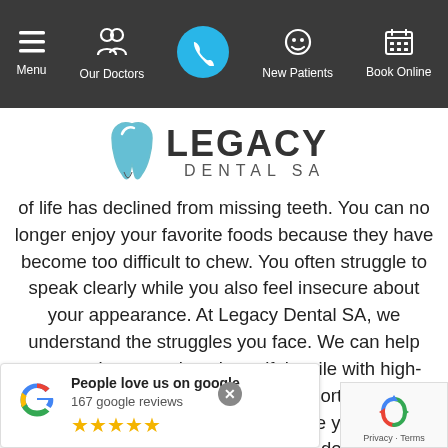Menu | Our Doctors | [Phone] | New Patients | Book Online
[Figure (logo): Legacy Dental SA logo with stylized tooth icon]
of life has declined from missing teeth. You can no longer enjoy your favorite foods because they have become too difficult to chew. You often struggle to speak clearly while you also feel insecure about your appearance. At Legacy Dental SA, we understand the struggles you face. We can help you regain a complete, beautiful smile with high-quality, custom-made dentures in North Central San Antonio. If you're ready to replace your missing teeth and get the smile you deserve, don't hesitate to contact us today!
[Figure (other): Google review widget: People love us on google, 167 google reviews, 4 stars]
[Figure (other): reCAPTCHA widget with Privacy - Terms]